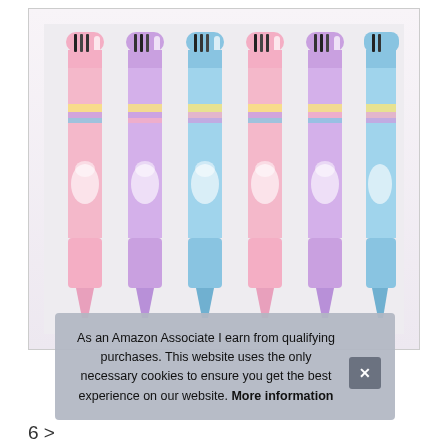[Figure (photo): Six unicorn-themed multicolor ballpoint pens with pastel pink, purple, and blue barrels featuring rainbow and unicorn illustrations, arranged side by side vertically]
As an Amazon Associate I earn from qualifying purchases. This website uses the only necessary cookies to ensure you get the best experience on our website. More information
6 >